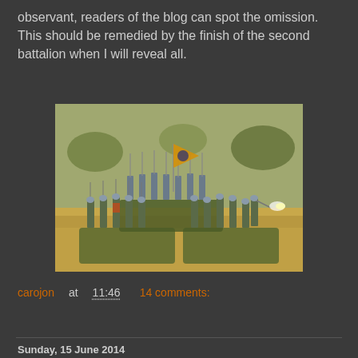observant, readers of the blog can spot the omission. This should be remedied by the finish of the second battalion when I will reveal all.
[Figure (photo): Photograph of painted 15mm military miniatures (infantry soldiers) on wargaming bases, with grass-covered terrain in the background, one figure carrying an orange flag/standard.]
carojon at 11:46    14 comments:
Share
Sunday, 15 June 2014
ICII in 15mm - Plastic Soldier Company